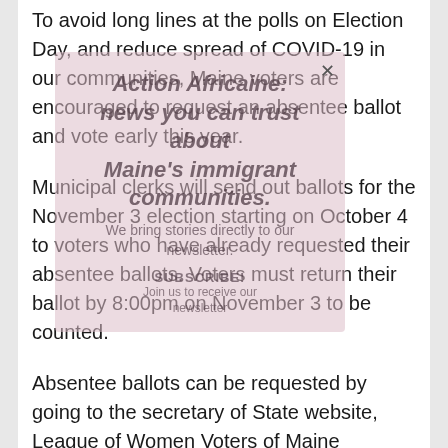To avoid long lines at the polls on Election Day, and reduce spread of COVID-19 in our communities, Maine voters are encouraged to request an absentee ballot and vote early this year.
Municipal clerks will send out ballots for the November 3 election starting on October 4 to voters who have already requested their absentee ballots. Voters must return their ballot by 8:00pm on November 3 to be counted.
Absentee ballots can be requested by going to the secretary of State website, League of Women Voters of Maine website, calling your local town or city clerk office, or visiting the office in person.